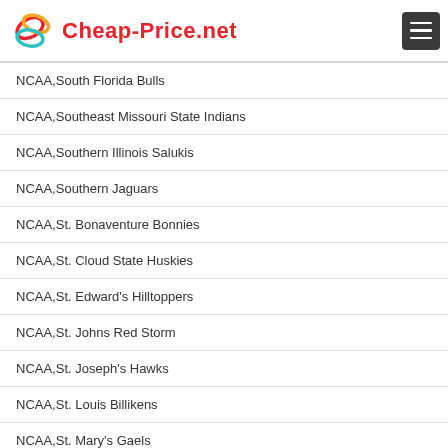Cheap-Price.net
NCAA,South Florida Bulls
NCAA,Southeast Missouri State Indians
NCAA,Southern Illinois Salukis
NCAA,Southern Jaguars
NCAA,St. Bonaventure Bonnies
NCAA,St. Cloud State Huskies
NCAA,St. Edward's Hilltoppers
NCAA,St. Johns Red Storm
NCAA,St. Joseph's Hawks
NCAA,St. Louis Billikens
NCAA,St. Mary's Gaels